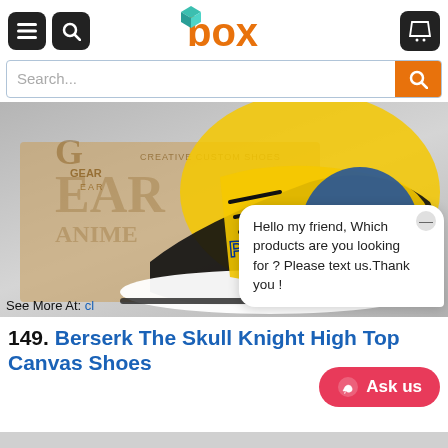box — navigation header with menu, search, and cart icons
[Figure (screenshot): Search bar with orange search button]
[Figure (photo): Custom high-top canvas sneakers with Pokémon Greninja design on yellow and blue background, displayed in front of a Gear Anime box. Text on box reads: GEAR ANIME, CREATIVE CUSTOM SHOES. See More At: cl...]
See More At: cl
Hello my friend, Which products are you looking for ? Please text us.Thank you !
149. Berserk The Skull Knight High Top Canvas Shoes